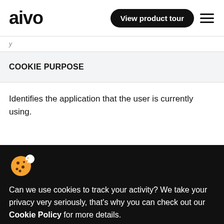aivo | View product tour
| COOKIE PURPOSE |
| --- |
| Identifies the application that the user is currently using. |
[Figure (illustration): Cookie emoji icon]
Can we use cookies to track your activity? We take your privacy very seriously, that's why you can check out our Cookie Policy for more details.
Accept